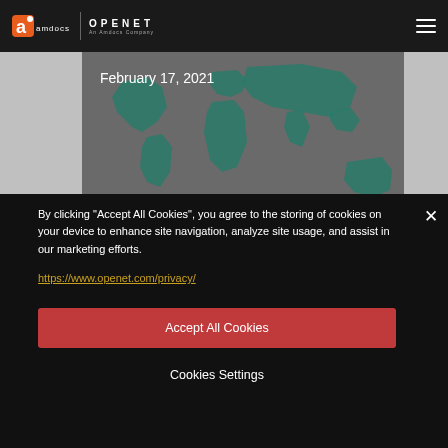amdocs | OPENET
February 17, 2021
[Figure (map): World map graphic in teal/green color on dark gray background]
By clicking "Accept All Cookies", you agree to the storing of cookies on your device to enhance site navigation, analyze site usage, and assist in our marketing efforts.
https://www.openet.com/privacy/
Accept All Cookies
Cookies Settings